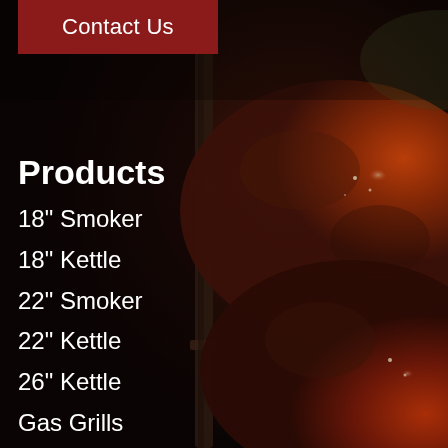[Figure (photo): Dark background photo of grilled/smoked meat (chicken or ribs) with reddish-brown glaze, rotisserie equipment visible]
Contact Us
Products
18" Smoker
18" Kettle
22" Smoker
22" Kettle
26" Kettle
Gas Grills
Seasonings
Rotisserie Accessories